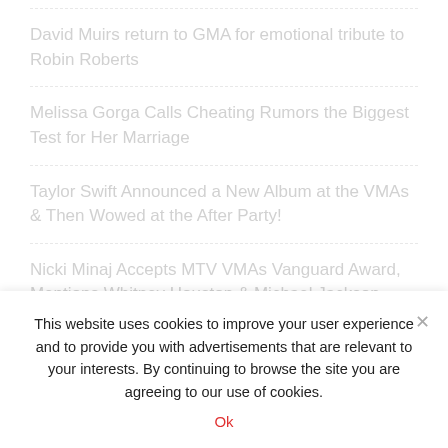David Muirs return to GMA for emotional tribute to Robin Roberts
Melissa Gorga Calls Cheating Rumors the Biggest Test for Her Marriage
Taylor Swift Announced a New Album at the VMAs & Then Wowed at the After Party!
Nicki Minaj Accepts MTV VMAs Vanguard Award, Mentions Whitney Houston & Michael Jackson, Calls For Mental Health Awareness
Fans Defend Drew Barrymore After Shes Accused of
This website uses cookies to improve your user experience and to provide you with advertisements that are relevant to your interests. By continuing to browse the site you are agreeing to our use of cookies.
Ok